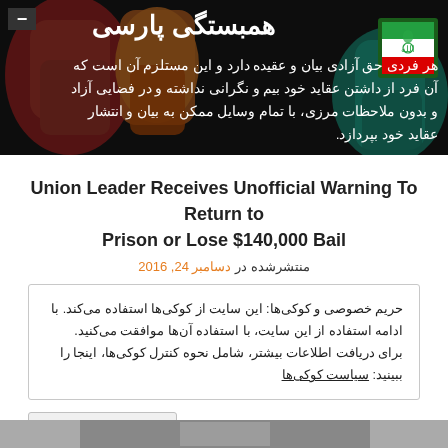[Figure (illustration): Website header banner with colorful raised fists (red, orange, teal) on dark background with Farsi solidarity text overlay and Iran green ribbon badge]
همبستگی پارسی
هر فردی حق آزادی بیان و عقیده دارد و این مستلزم آن است که آن فرد از داشتن عقاید خود بیم و نگرانی نداشته و در فضایی آزاد و بدون ملاحظات مرزی، با تمام وسایل ممکن به بیان و انتشار عقاید خود بپردازد.
Union Leader Receives Unofficial Warning To Return to Prison or Lose $140,000 Bail
منتشرشده در دسامبر 24, 2016
حریم خصوصی و کوکی‌ها: این سایت از کوکی‌ها استفاده می‌کند. با ادامه استفاده از این سایت، با استفاده آن‌ها موافقت می‌کنید. برای دریافت اطلاعات بیشتر، شامل نحوه کنترل کوکی‌ها، اینجا را ببینید: سیاست کوکی‌ها
بستن و پذیرفتن
[Figure (photo): Partial photo visible at bottom of page]